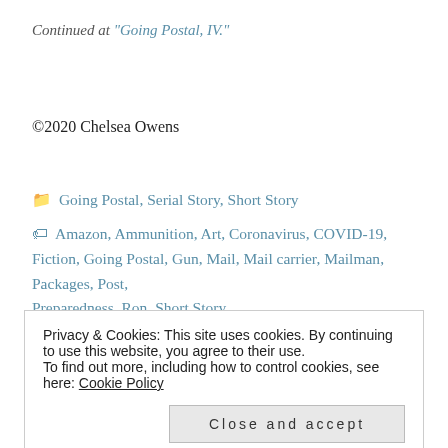Continued at “Going Postal, IV.”
©2020 Chelsea Owens
Going Postal, Serial Story, Short Story
Amazon, Ammunition, Art, Coronavirus, COVID-19, Fiction, Going Postal, Gun, Mail, Mail carrier, Mailman, Packages, Post, Preparedness, Ron, Short Story
Privacy & Cookies: This site uses cookies. By continuing to use this website, you agree to their use. To find out more, including how to control cookies, see here: Cookie Policy
Close and accept